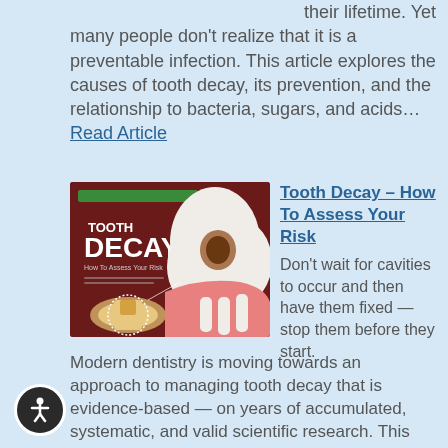their lifetime. Yet many people don't realize that it is a preventable infection. This article explores the causes of tooth decay, its prevention, and the relationship to bacteria, sugars, and acids… Read Article
[Figure (illustration): Tooth Decay illustration showing a cross-section of a decayed tooth with cavity, alongside close-up of molars with decay, on dark red background. Title text reads TOOTH DECAY How To Assess Your Risk.]
Tooth Decay – How To Assess Your Risk
Don't wait for cavities to occur and then have them fixed — stop them before they start. Modern dentistry is moving towards an approach to managing tooth decay that is evidence-based — on years of accumulated, systematic, and valid scientific research. This article discusses what you need to know to assess your risk and change the conditions that lead to decay… Read Article